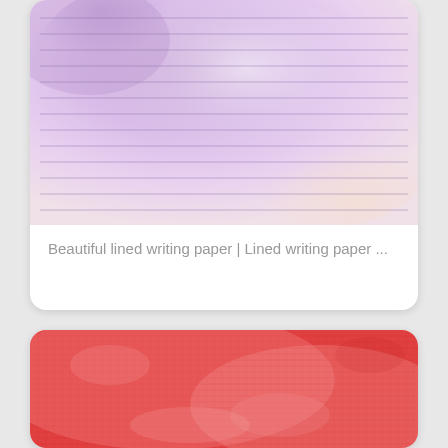[Figure (illustration): Purple/lavender watercolor lined writing paper with horizontal ruled lines on a gradient purple-to-peach watercolor background]
Beautiful lined writing paper | Lined writing paper ...
[Figure (illustration): Red/coral linen or fabric texture with a worn, distressed appearance showing cross-hatch weave pattern]